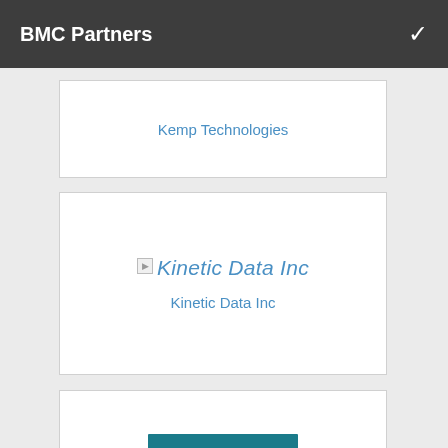BMC Partners
[Figure (logo): Kemp Technologies partner card with logo and link text]
[Figure (logo): Kinetic Data Inc partner card with broken image placeholder and link text]
[Figure (logo): KnowledgeBroker partner card with teal logo rectangle and link text]